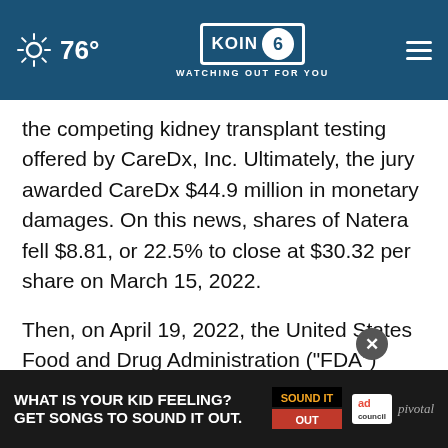76° KOIN 6 CBS WATCHING OUT FOR YOU
the competing kidney transplant testing offered by CareDx, Inc. Ultimately, the jury awarded CareDx $44.9 million in monetary damages. On this news, shares of Natera fell $8.81, or 22.5% to close at $30.32 per share on March 15, 2022.
Then, on April 19, 2022, the United States Food and Drug Administration ("FDA") issued a safety communication "to educate patients and health care providers about the risks and inappropriate use of [Wh-15], a non-invasive
[Figure (screenshot): Advertisement banner: 'WHAT IS YOUR KID FEELING? GET SONGS TO SOUND IT OUT.' with Sound It Out branding, ad council logo, and pivotal logo]